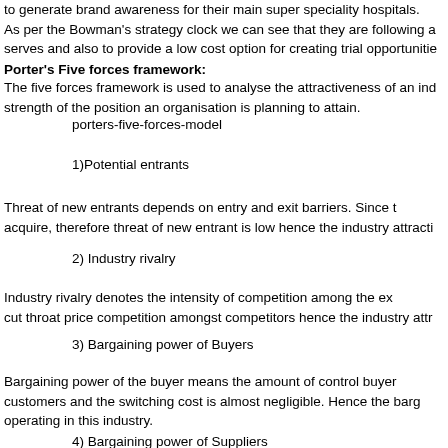to generate brand awareness for their main super speciality hospitals. As per the Bowman's strategy clock we can see that they are following a serves and also to provide a low cost option for creating trial opportunitie
Porter's Five forces framework:
The five forces framework is used to analyse the attractiveness of an ind strength of the position an organisation is planning to attain.
porters-five-forces-model
1)Potential entrants
Threat of new entrants depends on entry and exit barriers. Since t acquire, therefore threat of new entrant is low hence the industry attracti
2) Industry rivalry
Industry rivalry denotes the intensity of competition among the ex cut throat price competition amongst competitors hence the industry attr
3) Bargaining power of Buyers
Bargaining power of the buyer means the amount of control buyer customers and the switching cost is almost negligible. Hence the barg operating in this industry.
4) Bargaining power of Suppliers
It signifies how strong the position of the seller is. In this sector th customers. Also the cost of switching between the suppliers is low thereb